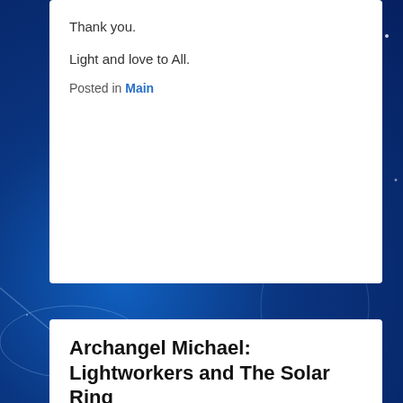Thank you.
Light and love to All.
Posted in Main
Archangel Michael: Lightworkers and The Solar Ring
Posted on 05/15/2016 by EraOfLight
[Figure (photo): Image placeholder link: 146091666745532]
ARCHANGEL MICHAEL: Hail, beloved Lightworkers. I AM Archangel Michael, indeed, and would like you to join me in an exercise, in which you can use your third eye vision as a sacred tool, not only to establish a relationship with the beloved Presence of God in you, but also cultivate one with your Higher Selves,